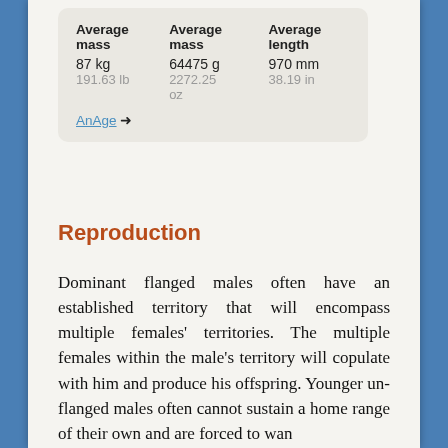| Average mass | Average mass | Average length |
| --- | --- | --- |
| 87 kg | 64475 g | 970 mm |
| 191.63 lb | 2272.25 oz | 38.19 in |
Reproduction
Dominant flanged males often have an established territory that will encompass multiple females' territories. The multiple females within the male's territory will copulate with him and produce his offspring. Younger unflanged males often cannot sustain a home range of their own and are forced to wan-